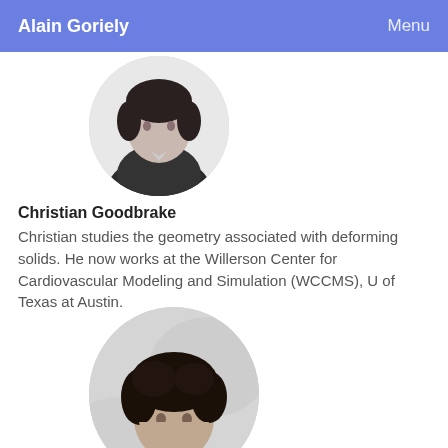Alain Goriely   Menu
[Figure (photo): Black and white circular portrait photo of a person in a dark jacket, cropped at top of page]
Christian Goodbrake
Christian studies the geometry associated with deforming solids. He now works at the Willerson Center for Cardiovascular Modeling and Simulation (WCCMS), U of Texas at Austin.
[Figure (photo): Black and white circular portrait photo of a young man with dark curly hair]